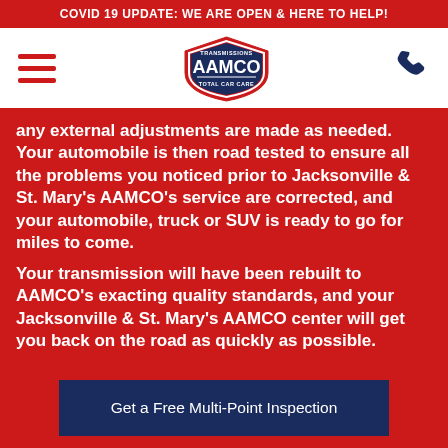COVID 19 UPDATE: WE ARE OPEN & HERE TO HELP!
[Figure (logo): AAMCO Transmissions Total Car Care logo in shield shape]
any external adjustments are made as needed. Your automobile is then road tested to ensure all the problems you noticed prior to Jacksonville & St. Mary's AAMCO's service are corrected, and your automobile, truck or SUV is ready to go for miles to come.
Your transmission will have been rebuilt to AAMCO's exacting quality standards, and your Jacksonville & St. Mary's AAMCO center will get you back on the road as quickly as possible.
Get a Free Multi-Point Inspection